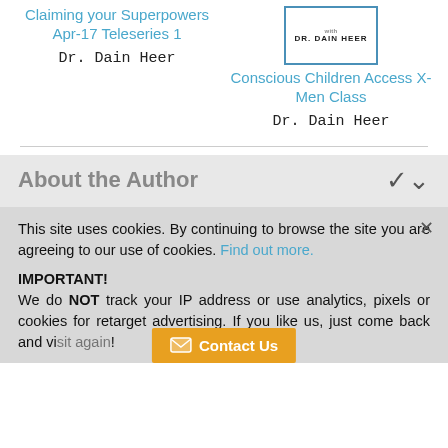[Figure (illustration): Book cover image for Conscious Children Access X-Men Class by Dr. Dain Heer, with border and text]
Claiming your Superpowers Apr-17 Teleseries 1
Dr. Dain Heer
Conscious Children Access X-Men Class
Dr. Dain Heer
About the Author
This site uses cookies. By continuing to browse the site you are agreeing to our use of cookies. Find out more.
IMPORTANT!
We do NOT track your IP address or use analytics, pixels or cookies for retarget advertising. If you like us, just come back and visit again!
Contact Us